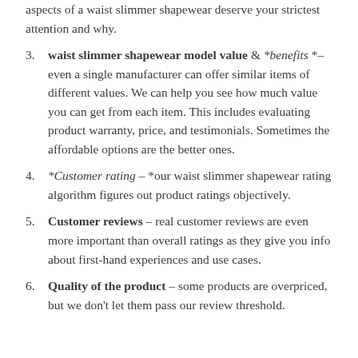(partial) aspects of a waist slimmer shapewear deserve your strictest attention and why.
3. waist slimmer shapewear model value & *benefits *– even a single manufacturer can offer similar items of different values. We can help you see how much value you can get from each item. This includes evaluating product warranty, price, and testimonials. Sometimes the affordable options are the better ones.
4. *Customer rating – *our waist slimmer shapewear rating algorithm figures out product ratings objectively.
5. Customer reviews – real customer reviews are even more important than overall ratings as they give you info about first-hand experiences and use cases.
6. Quality of the product – some products are overpriced, but we don't let them pass our review threshold.